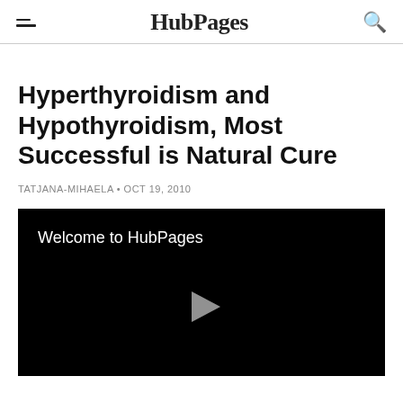HubPages
Hyperthyroidism and Hypothyroidism, Most Successful is Natural Cure
TATJANA-MIHAELA • OCT 19, 2010
[Figure (screenshot): Video player with black background showing 'Welcome to HubPages' text and a play button triangle in the center]